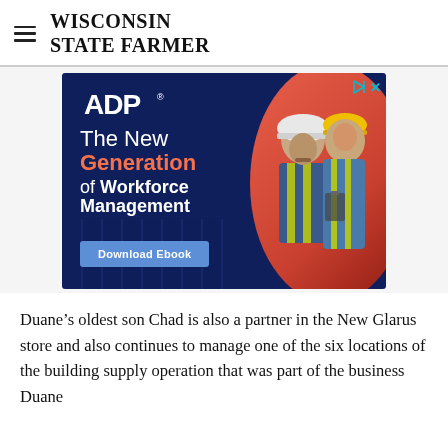WISCONSIN STATE FARMER
[Figure (photo): ADP advertisement showing two construction workers wearing hard hats. Text reads 'The New Generation of Workforce Management' with a 'Download Ebook' button. ADP logo visible. Dark navy blue background.]
Duane’s oldest son Chad is also a partner in the New Glarus store and also continues to manage one of the six locations of the building supply operation that was part of the business Duane